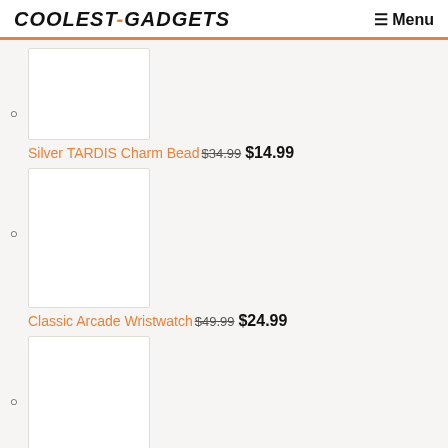COOLEST-GADGETS Menu
Silver TARDIS Charm Bead $34.99 $14.99
Classic Arcade Wristwatch $49.99 $24.99
Star Wars R2-D2 Measuring Cup Set $19.99